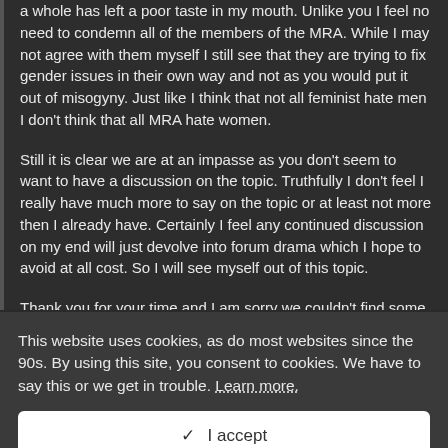a whole has left a poor taste in my mouth. Unlike you I feel no need to condemn all of the members of the MRA. While I may not agree with them myself I still see that they are trying to fix gender issues in their own way and not as you would put it out of misogyny. Just like I think that not all feminist hate men I don't think that all MRA hate women.
Still it is clear we are at an impasse as you don't seem to want to have a discussion on the topic. Truthfully I don't feel I really have much more to say on the topic or at least not more then I already have. Certainly I feel any continued discussion on my end will just devolve into forum drama which I hope to avoid at all cost. So I will see myself out of this topic.
Thank you for your time and I am sorry we couldn't find some common ground.
This website uses cookies, as do most websites since the 90s. By using this site, you consent to cookies. We have to say this or we get in trouble. Learn more.
✓  I accept